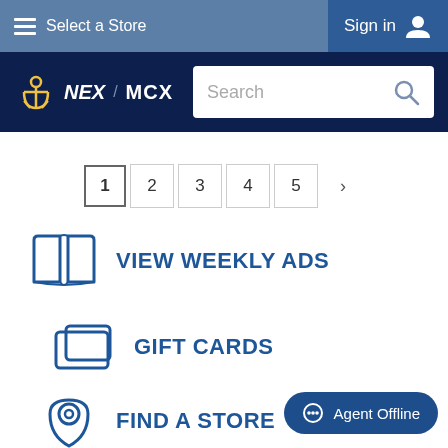Select a Store | Sign in
[Figure (screenshot): NEX / MCX logo with anchor icon on dark navy background]
Search
1  2  3  4  5  >
VIEW WEEKLY ADS
GIFT CARDS
FIND A STORE
Agent Offline